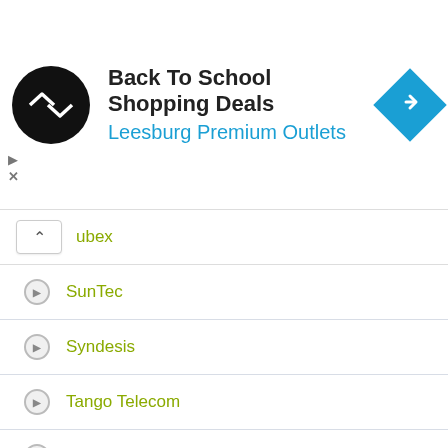[Figure (screenshot): Advertisement banner for Back To School Shopping Deals at Leesburg Premium Outlets with logo and navigation icon]
subex
SunTec
Syndesis
Tango Telecom
Tata Communications Ltd.
Telarix
Telcordia
Telecom Cost Management